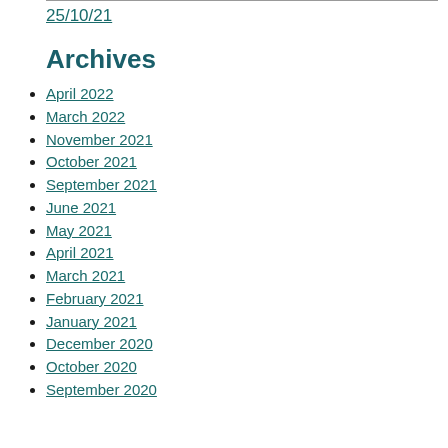25/10/21
Archives
April 2022
March 2022
November 2021
October 2021
September 2021
June 2021
May 2021
April 2021
March 2021
February 2021
January 2021
December 2020
October 2020
September 2020